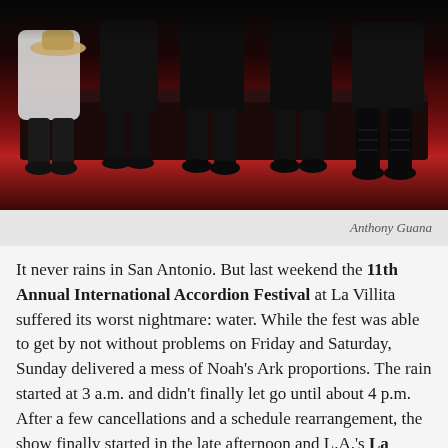[Figure (photo): Group of people seated on a couch/sofa, dark background with red carpet/floor, shot from waist down showing their legs and feet. One person holds a cowboy hat.]
Anthony Guana
It never rains in San Antonio. But last weekend the 11th Annual International Accordion Festival at La Villita suffered its worst nightmare: water. While the fest was able to get by not without problems on Friday and Saturday, Sunday delivered a mess of Noah's Ark proportions. The rain started at 3 a.m. and didn't finally let go until about 4 p.m. After a few cancellations and a schedule rearrangement, the show finally started in the late afternoon and L.A.'s La Santa Cecilia closed the show in style. Fortunately, the festival doesn't rely solely on a cut of vendor sales, which were decimated on Sunday, to